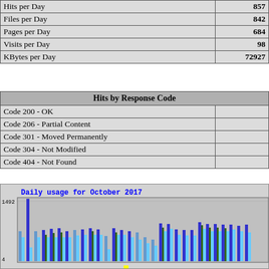| Metric | Value |
| --- | --- |
| Hits per Day | 857 |
| Files per Day | 842 |
| Pages per Day | 684 |
| Visits per Day | 98 |
| KBytes per Day | 72927 |
| Hits by Response Code |  |
| --- | --- |
| Code 200 - OK |  |
| Code 206 - Partial Content |  |
| Code 301 - Moved Permanently |  |
| Code 304 - Not Modified |  |
| Code 404 - Not Found |  |
[Figure (bar-chart): Daily usage for October 2017]